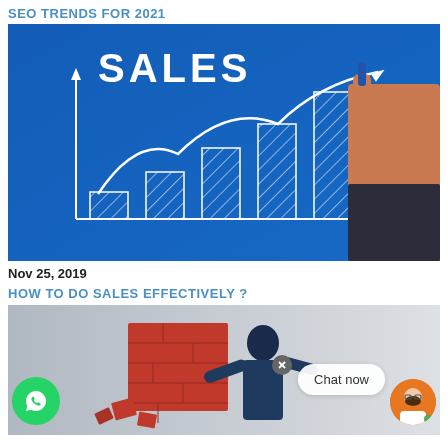SEO TRENDS FOR 2021
[Figure (photo): Business sales chart illustration with a hand drawing an upward arrow over bar chart on blue background, with the word SALES]
Nov 25, 2019
HOW TO DO SALES EFFECTIVELY ?
[Figure (photo): Red brick wall breaking apart with dark blue suited figure, with WhatsApp chat bubble UI overlay showing Chat now button and avatar]